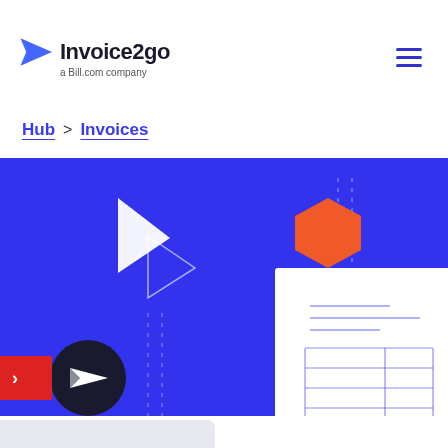[Figure (logo): Invoice2go logo with blue paper airplane icon and text 'Invoice2go' and subtitle 'a Bill.com company']
Hub > Invoices
[Figure (illustration): Blue banner with decorative geometric shapes (white triangles, orange hexagon, dashed lines), an invoice document illustration, and a paper airplane icon button on the left side]
[Figure (infographic): Social sharing bar with Facebook, Twitter, LinkedIn, and email icons on light gray background]
make an